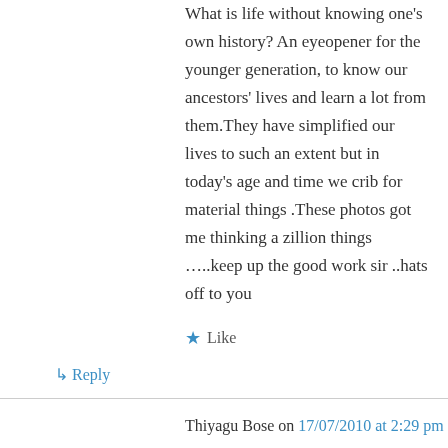What is life without knowing one's own history? An eyeopener for the younger generation, to know our ancestors' lives and learn a lot from them.They have simplified our lives to such an extent but in today's age and time we crib for material things .These photos got me thinking a zillion things …..keep up the good work sir ..hats off to you
★ Like
↳ Reply
Thiyagu Bose on 17/07/2010 at 2:29 pm
I saw the website which you have created for Badagas. It is very useful for all the Badaga people's to know their culture from the